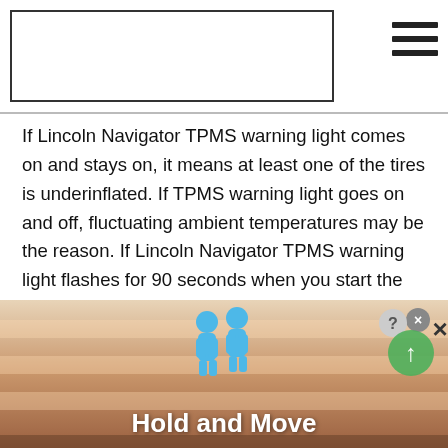If Lincoln Navigator TPMS warning light comes on and stays on, it means at least one of the tires is underinflated. If TPMS warning light goes on and off, fluctuating ambient temperatures may be the reason. If Lincoln Navigator TPMS warning light flashes for 90 seconds when you start the vehicle and then remains illuminated, the TPMS is not functioning properly and you should have it serviced.
How to reset tire pressure light on Lincoln Navigator?
To reset tire pressure light on Lincoln Navigator, follow the instructions in owner's manual. If tire pressure
[Figure (screenshot): Advertisement banner showing 'Hold and Move' game with blue cartoon figures and staircase background, with close/question buttons overlay]